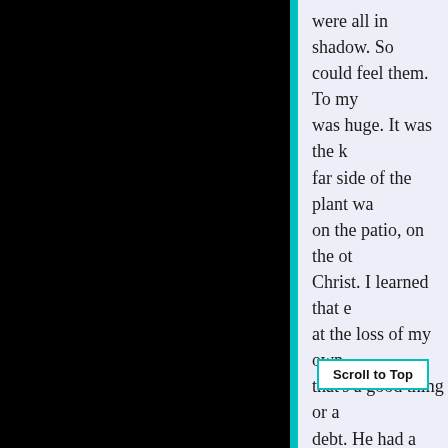were all in shadow. So could feel them. To my was huge. It was the k far side of the plant wa on the patio, on the ot Christ. I learned that e at the loss of my own. that's a good thing or a debt. He had a terrible that got discussed or n

Satan looked a lot like leather trenchcoats on think that was the last said. I know I extended was there. I have been surpr certain this was an i